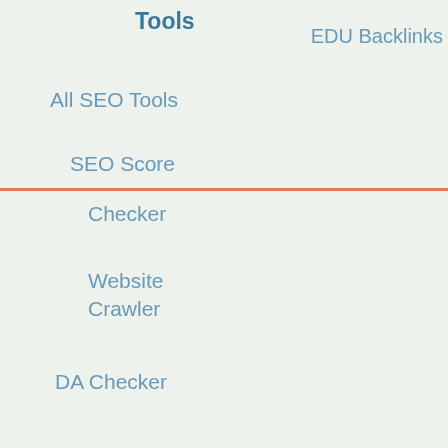Tools
EDU Backlinks
All SEO Tools
SEO Score
Checker
Website Crawler
DA Checker
About
Mission
Partnerships
Careers
Contact
Address